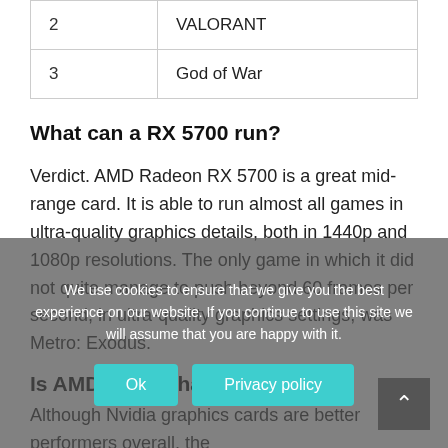|  |  |
| --- | --- |
| 2 | VALORANT |
| 3 | God of War |
What can a RX 5700 run?
Verdict. AMD Radeon RX 5700 is a great mid-range card. It is able to run almost all games in ultra-quality graphics details, both in 1440p and 1080p resolutions. The only game in which it did not quite manage to push beyond 60 frames per second, in ultra-quality graphics settings, was Metro: Exodus.
Is AMD better than RTX?
Although Nvidia graphics cards are better performers overall, the
We use cookies to ensure that we give you the best experience on our website. If you continue to use this site we will assume that you are happy with it.